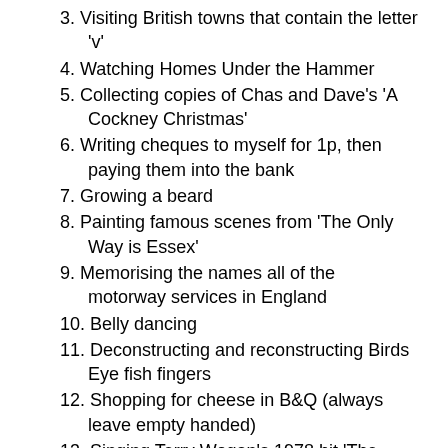3. Visiting British towns that contain the letter 'v'
4. Watching Homes Under the Hammer
5. Collecting copies of Chas and Dave's 'A Cockney Christmas'
6. Writing cheques to myself for 1p, then paying them into the bank
7. Growing a beard
8. Painting famous scenes from 'The Only Way is Essex'
9. Memorising the names all of the motorway services in England
10. Belly dancing
11. Deconstructing and reconstructing Birds Eye fish fingers
12. Shopping for cheese in B&Q (always leave empty handed)
13. Singing Terry Wogan's 1978 hit 'The Floral Dance' to myself
14. Re-enacting famous British parliamentary by-elections
15. Attending company AGM's, purloining free food, then leaving
16. Making furniture out of cardboard boxes
17. Worshipping Prince Phillip
18. Playing the spoons